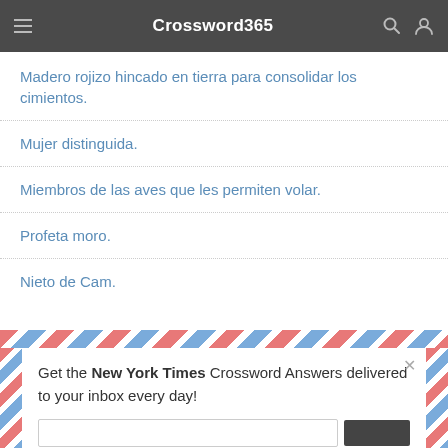Crossword365
Madero rojizo hincado en tierra para consolidar los cimientos.
Mujer distinguida.
Miembros de las aves que les permiten volar.
Profeta moro.
Nieto de Cam.
Get the New York Times Crossword Answers delivered to your inbox every day!